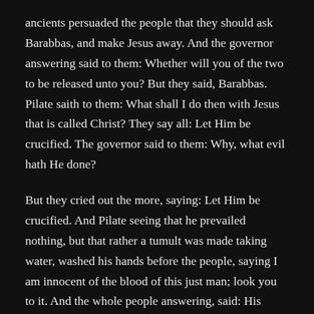ancients persuaded the people that they should ask Barabbas, and make Jesus away. And the governor answering said to them: Whether will you of the two to be released unto you? But they said, Barabbas. Pilate saith to them: What shall I do then with Jesus that is called Christ? They say all: Let Him be crucified. The governor said to them: Why, what evil hath He done?
But they cried out the more, saying: Let Him be crucified. And Pilate seeing that he prevailed nothing, but that rather a tumult was made taking water, washed his hands before the people, saying I am innocent of the blood of this just man; look you to it. And the whole people answering, said: His blood be upon us and upon our children. Then he released to them Barabbas: and having scourged Jesus, delivered Him unto them to be crucified. Then the soldiers of the governor taking Jesus into the hall, gathered together unto Him the whole band: and stripping Him, they put a scarlet cloak about Him. And platting a crown of thorns, they put it upon His head, and a reed in His right hand. And bowing the knee before Him, they